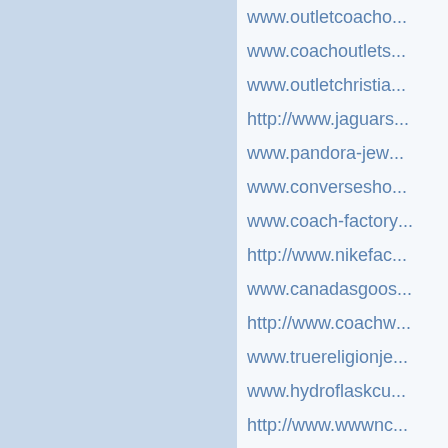www.outletcoach...
www.coachoutlets...
www.outletchristia...
http://www.jaguars...
www.pandora-jew...
www.conversesho...
www.coach-factory...
http://www.nikefac...
www.canadasgoos...
http://www.coachw...
www.truereligionje...
www.hydroflaskcul...
http://www.wwwnc...
www.denverbronc...
qqq
Limchy wrote re...